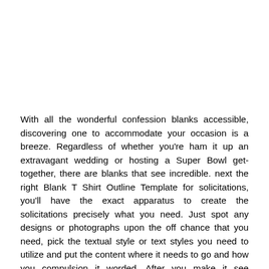With all the wonderful confession blanks accessible, discovering one to accommodate your occasion is a breeze. Regardless of whether you're ham it up an extravagant wedding or hosting a Super Bowl get-together, there are blanks that see incredible. next the right Blank T Shirt Outline Template for solicitations, you'll have the exact apparatus to create the solicitations precisely what you need. Just spot any designs or photographs upon the off chance that you need, pick the textual style or text styles you need to utilize and put the content where it needs to go and how you compulsion it worded. After you make it see precisely how you need, you're prepared to print off the thesame number of or as not many as you need. Its best piece is you don't stop occurring later than many solicitations you needn't activity with, nor will you have too not many in such a deed that you dependence another. you should suitably